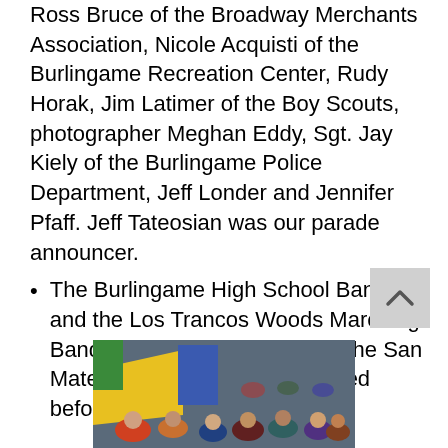Ross Bruce of the Broadway Merchants Association, Nicole Acquisti of the Burlingame Recreation Center, Rudy Horak, Jim Latimer of the Boy Scouts, photographer Meghan Eddy, Sgt. Jay Kiely of the Burlingame Police Department, Jeff Londer and Jennifer Pfaff. Jeff Tateosian was our parade announcer.
The Burlingame High School Band and the Los Trancos Woods Marching Band marched in the parade. The San Mateo Elks Concert Band played before and after the parade.
[Figure (photo): Crowd scene at parade with colorful flags and people in various clothing]